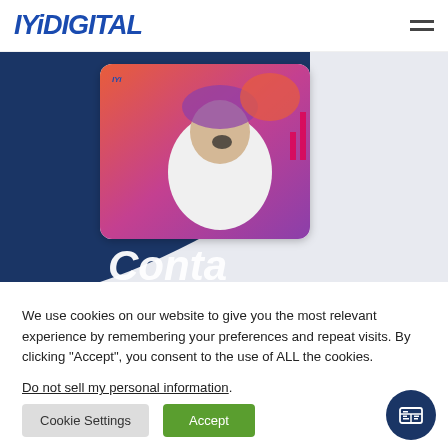[Figure (logo): IYiDIGITAL logo in dark blue bold italic font]
[Figure (screenshot): Website hero banner showing a person in a white shirt with open mouth against a colorful gradient background, displayed in a phone/browser mockup, with dark navy blue wave shape. Partial italic white text visible at bottom reading 'Conta...']
We use cookies on our website to give you the most relevant experience by remembering your preferences and repeat visits. By clicking “Accept”, you consent to the use of ALL the cookies.
Do not sell my personal information.
Cookie Settings
Accept